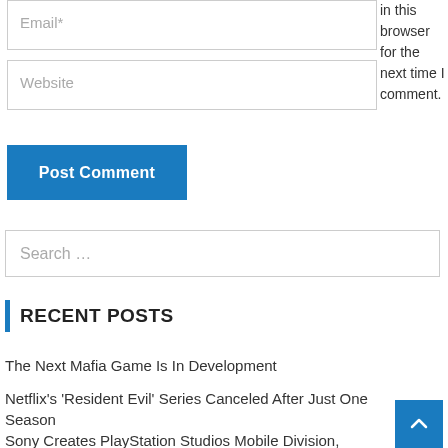Email*
in this browser for the next time I comment.
Website
Post Comment
Search …
RECENT POSTS
The Next Mafia Game Is In Development
Netflix's 'Resident Evil' Series Canceled After Just One Season
Sony Creates PlayStation Studios Mobile Division, Acquires